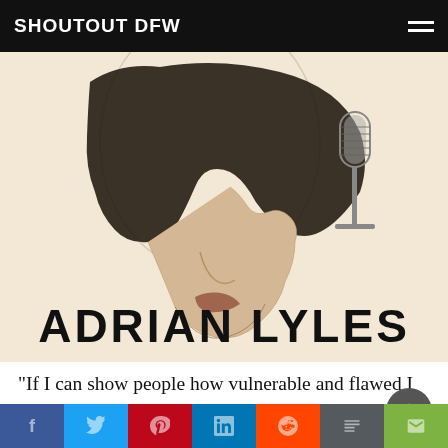SHOUTOUT DFW
[Figure (illustration): Sketch illustration of a person singing into a vintage microphone, with 'ADRIAN LYLES' printed in bold black text at the bottom on a cream/off-white background.]
“If I can show people how vulnerable and flawed I am, maybe others will relate.” That is a quote from Jon Bellion who is by far one of my biggest inspirations. I feel that a lot of people try their best to show how awesome and fun their liv
f  🐦  p  in  🙏  m  ✉